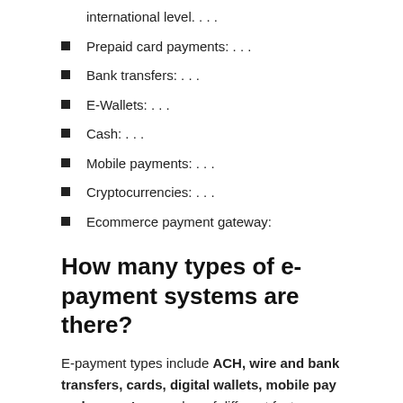international level. . . .
Prepaid card payments: . . .
Bank transfers: . . .
E-Wallets: . . .
Cash: . . .
Mobile payments: . . .
Cryptocurrencies: . . .
Ecommerce payment gateway:
How many types of e-payment systems are there?
E-payment types include ACH, wire and bank transfers, cards, digital wallets, mobile pay and more. Any number of different factors can guide